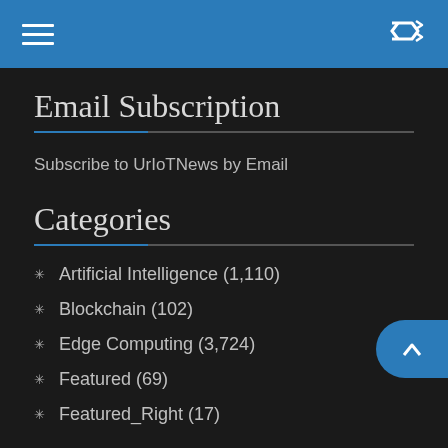Email Subscription
Subscribe to UrIoTNews by Email
Categories
Artificial Intelligence (1,110)
Blockchain (102)
Edge Computing (3,724)
Featured (69)
Featured_Right (17)